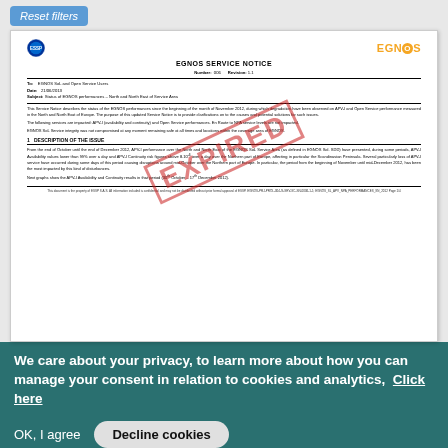[Figure (screenshot): Reset filters button (blue rounded button with italic white text)]
[Figure (screenshot): EGNOS Service Notice document preview with EXPIRED stamp overlay. Document shows header with ESSP and EGNOS logos, title 'EGNOS SERVICE NOTICE', Number 006, Revision 1.1, metadata fields (To, Date, Subject), body text describing EGNOS performance degradation in North and North East of Europe during November 2012, and a section header '1 DESCRIPTION OF THE ISSUE'. A large red diagonal EXPIRED stamp overlays the document.]
We care about your privacy, to learn more about how you can manage your consent in relation to cookies and analytics,  Click here
[Figure (screenshot): OK, I agree button and Decline cookies button]
OK, I agree
Decline cookies